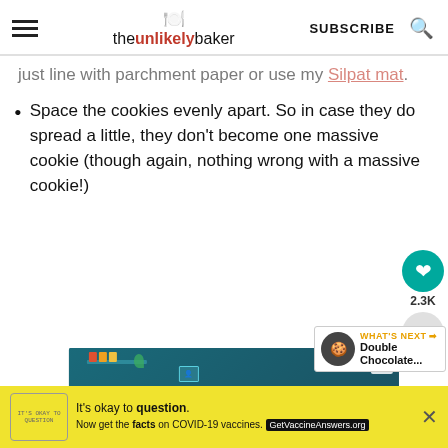theunlikelybaker — SUBSCRIBE
just line with parchment paper or use my Silpat mat.
Space the cookies evenly apart. So in case they do spread a little, they don't become one massive cookie (though again, nothing wrong with a massive cookie!)
[Figure (screenshot): Animation/video screenshot showing illustrated scene with person at desk in teal room, with an X close button overlay. What's Next panel showing Double Chocolate... with thumbnail.]
[Figure (advertisement): Yellow banner ad: It's okay to question. Now get the facts on COVID-19 vaccines. GetVaccineAnswers.org]